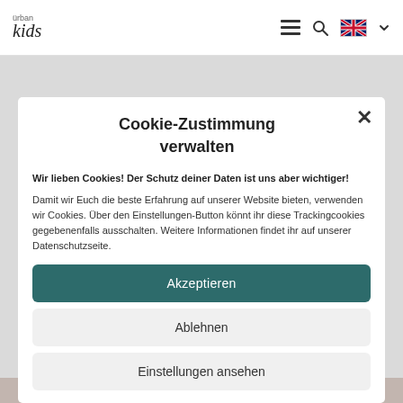urban kids — navigation bar with hamburger menu, search icon, UK flag, and chevron
Cookie-Zustimmung verwalten
Wir lieben Cookies! Der Schutz deiner Daten ist uns aber wichtiger!
Damit wir Euch die beste Erfahrung auf unserer Website bieten, verwenden wir Cookies. Über den Einstellungen-Button könnt ihr diese Trackingcookies gegebenenfalls ausschalten. Weitere Informationen findet ihr auf unserer Datenschutzseite.
Akzeptieren
Ablehnen
Einstellungen ansehen